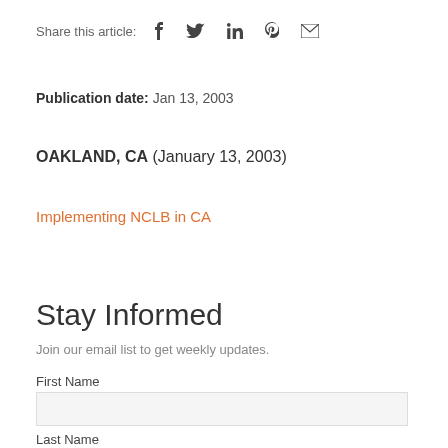Share this article:
Publication date: Jan 13, 2003
OAKLAND, CA (January 13, 2003)
Implementing NCLB in CA
Stay Informed
Join our email list to get weekly updates.
First Name
Last Name